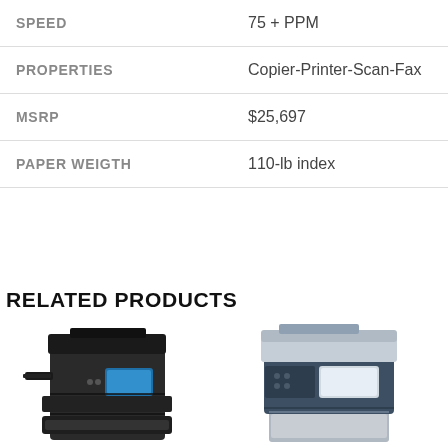| Attribute | Value |
| --- | --- |
| SPEED | 75 + PPM |
| PROPERTIES | Copier-Printer-Scan-Fax |
| MSRP | $25,697 |
| PAPER WEIGTH | 110-lb index |
RELATED PRODUCTS
[Figure (photo): Black office multifunction copier/printer, front-left view]
[Figure (photo): Gray and dark blue office multifunction copier/printer, front view]